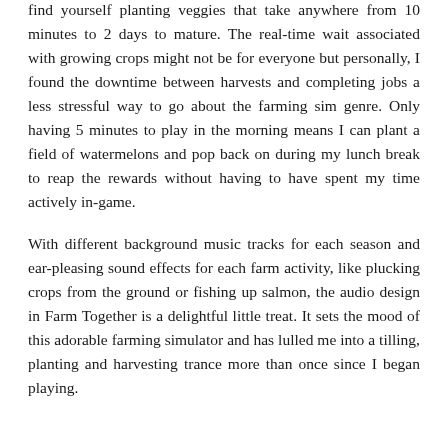find yourself planting veggies that take anywhere from 10 minutes to 2 days to mature. The real-time wait associated with growing crops might not be for everyone but personally, I found the downtime between harvests and completing jobs a less stressful way to go about the farming sim genre. Only having 5 minutes to play in the morning means I can plant a field of watermelons and pop back on during my lunch break to reap the rewards without having to have spent my time actively in-game.
With different background music tracks for each season and ear-pleasing sound effects for each farm activity, like plucking crops from the ground or fishing up salmon, the audio design in Farm Together is a delightful little treat. It sets the mood of this adorable farming simulator and has lulled me into a tilling, planting and harvesting trance more than once since I began playing.